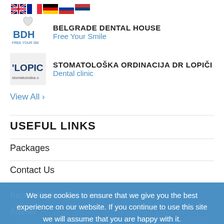[Figure (logo): Belgrade Dental House logo with flag strip (UK, France, Germany, Russia, Serbia flags) and BDH shield logo]
BELGRADE DENTAL HOUSE
Free Your Smile
[Figure (logo): Stomatološka Ordinacija Dr Lopičić logo showing LOPIC text]
STOMATOLOŠKA ORDINACIJA DR LOPIČIĆ
Dental clinic
View All >
USEFUL LINKS
Packages
Contact Us
Recent Posted Questions
Articles
Terms of use
Conditions
We use cookies to ensure that we give you the best experience on our website. If you continue to use this site we will assume that you are happy with it.